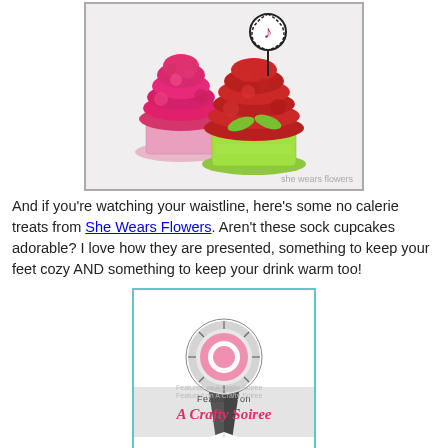[Figure (photo): Two decorative sock cupcakes — one hot pink and one red/green — displayed as if they were real cupcakes, with a 'She Wears Flowers' watermark in the corner.]
And if you're watching your waistline, here's some no calerie treats from She Wears Flowers. Aren't these sock cupcakes adorable? I love how they are presented, something to keep your feet cozy AND something to keep your drink warm too!
[Figure (photo): A 'Featured on A Crafty Soiree' award badge image with a pink ribbon/rosette graphic, inside a teal-bordered frame.]